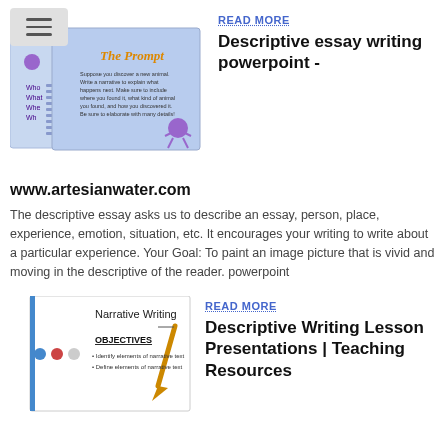[Figure (screenshot): Screenshot of educational PowerPoint slides about writing prompts with a menu hamburger icon in the top-left corner]
READ MORE
Descriptive essay writing powerpoint -
www.artesianwater.com
The descriptive essay asks us to describe an essay, person, place, experience, emotion, situation, etc. It encourages your writing to write about a particular experience. Your Goal: To paint an image picture that is vivid and moving in the descriptive of the reader. powerpoint
[Figure (screenshot): Screenshot of Narrative Writing lesson slide showing OBJECTIVES with bullet points: identify elements of narrative text, Define elements of narrative text]
READ MORE
Descriptive Writing Lesson Presentations | Teaching Resources